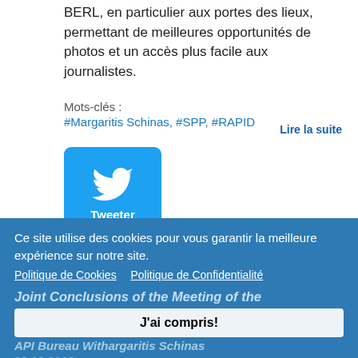BERL, en particulier aux portes des lieux, permettant de meilleures opportunités de photos et un accès plus facile aux journalistes.
Mots-clés :
#Margaritis Schinas, #SPP, #RAPID
Lire la suite
[Figure (logo): Twitter share button with bird icon and 'Tweeter' label, blue rounded square]
2122 lectures
Ce site utilise des cookies pour vous garantir la meilleure expérience sur notre site.
Politique de Cookies   Politique de Confidentialité
Joint Conclusions of the Meeting of the
J'ai compris!
API Bureau With Margaritis Schinas
26.06.2018